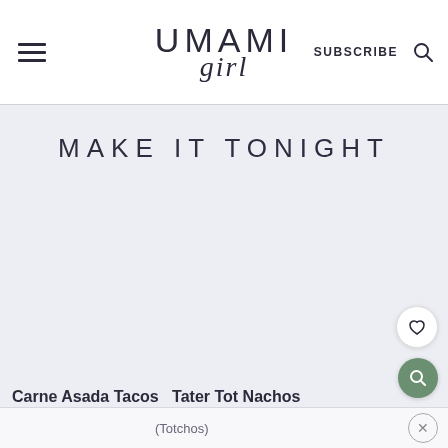UMAMI girl — SUBSCRIBE
MAKE IT TONIGHT
[Figure (photo): Food recipe card images (Carne Asada Tacos, Tater Tot Nachos) in a carousel on a light lavender-gray background]
Carne Asada Tacos  Tater Tot Nachos (Totchos)